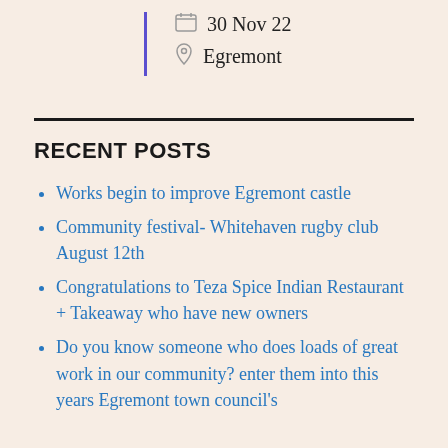30 Nov 22
Egremont
RECENT POSTS
Works begin to improve Egremont castle
Community festival- Whitehaven rugby club August 12th
Congratulations to Teza Spice Indian Restaurant + Takeaway who have new owners
Do you know someone who does loads of great work in our community? enter them into this years Egremont town council's